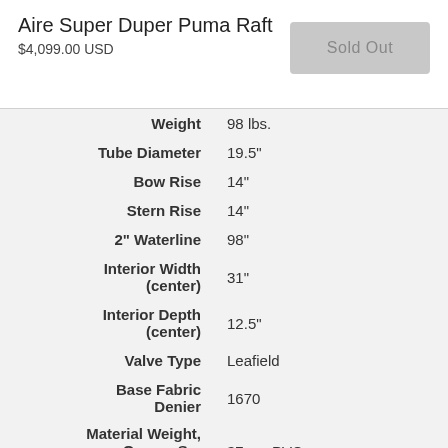Aire Super Duper Puma Raft
$4,099.00 USD
Sold Out
| Specification | Value |
| --- | --- |
| Weight | 98 lbs. |
| Tube Diameter | 19.5" |
| Bow Rise | 14" |
| Stern Rise | 14" |
| 2" Waterline | 98" |
| Interior Width (center) | 31" |
| Interior Depth (center) | 12.5" |
| Valve Type | Leafield |
| Base Fabric Denier | 1670 |
| Material Weight, Oz. per Sq. Yard | 37 oz. PVC |
| AIREcell | Urethane |